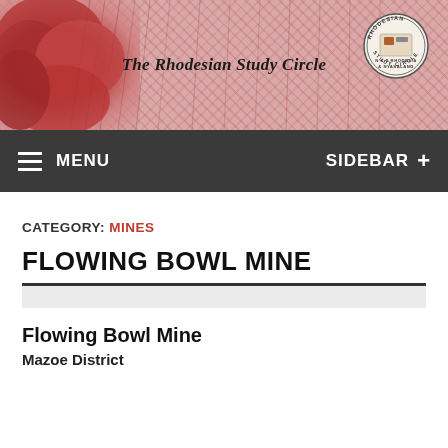[Figure (illustration): The Rhodesian Study Circle website banner header with waterfall/landscape imagery in red tones, italic bold text 'The Rhodesian Study Circle', and a circular stamp/seal on the right side reading 'RHODESIAN N & S RHODESIA & NYASALAND STUDY CIRCLE']
MENU   SIDEBAR +
CATEGORY: MINES
FLOWING BOWL MINE
Flowing Bowl Mine
Mazoe District